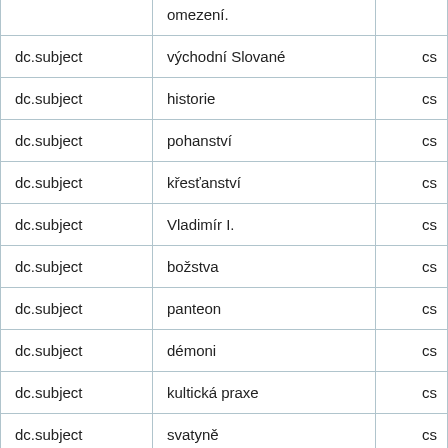|  | omezení. |  |
| dc.subject | východní Slované | cs |
| dc.subject | historie | cs |
| dc.subject | pohanství | cs |
| dc.subject | křesťanství | cs |
| dc.subject | Vladimír I. | cs |
| dc.subject | božstva | cs |
| dc.subject | panteon | cs |
| dc.subject | démoni | cs |
| dc.subject | kultická praxe | cs |
| dc.subject | svatyně | cs |
| dc.title | Spiritualita v Evropě: přechod od pohanství ke křesťanské ... | cs |